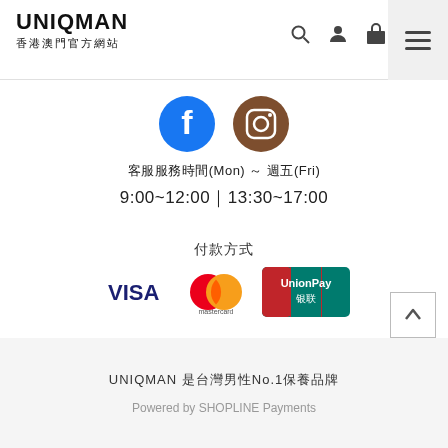UNIQMAN 香港澳門官方網站
[Figure (logo): Facebook and Instagram social media icons]
客服服務時間(Mon) ～ 週五(Fri)
9:00~12:00｜13:30~17:00
付款方式
[Figure (logo): Payment method logos: VISA, Mastercard, UnionPay]
UNIQMAN 是台灣男性No.1保養品牌
Powered by SHOPLINE Payments